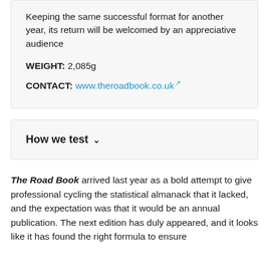Keeping the same successful format for another year, its return will be welcomed by an appreciative audience
WEIGHT: 2,085g
CONTACT: www.theroadbook.co.uk
How we test
The Road Book arrived last year as a bold attempt to give professional cycling the statistical almanack that it lacked, and the expectation was that it would be an annual publication. The next edition has duly appeared, and it looks like it has found the right formula to ensure